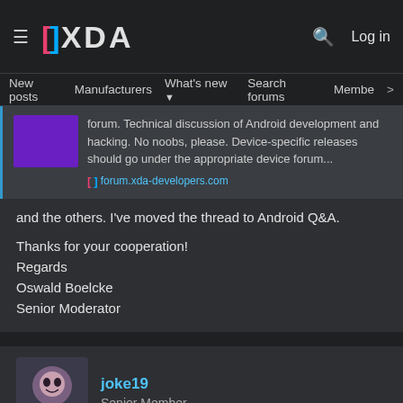XDA — New posts | Manufacturers | What's new | Search forums | Members | Log in
[Figure (screenshot): XDA Developers forum link preview card showing a purple thumbnail, text about Android development forum, and the URL forum.xda-developers.com]
and the others. I've moved the thread to Android Q&A.
Thanks for your cooperation!
Regards
Oswald Boelcke
Senior Moderator
[Figure (photo): User avatar for joke19 — anime-style illustration]
joke19
Senior Member